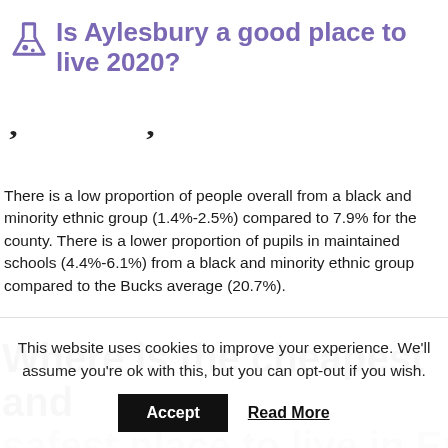Is Aylesbury a good place to live 2020?
There is a low proportion of people overall from a black and minority ethnic group (1.4%-2.5%) compared to 7.9% for the county. There is a lower proportion of pupils in maintained schools (4.4%-6.1%) from a black and minority ethnic group compared to the Bucks average (20.7%).
Where is the cheapest and safest place to live in England?
This website uses cookies to improve your experience. We'll assume you're ok with this, but you can opt-out if you wish.